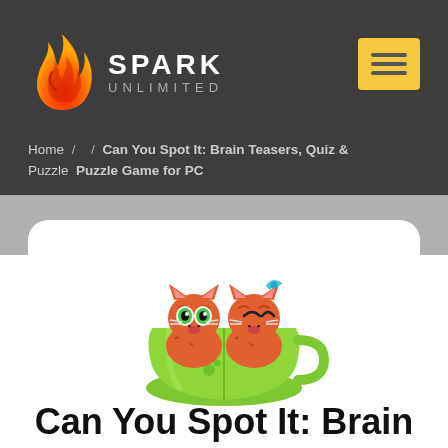SPARK UNLIMITED
Home / / Can You Spot It: Brain Teasers, Quiz & Puzzle Puzzle Game for PC
[Figure (illustration): Two cartoon orange/red kittens sitting in a green tea cup. One has green eyes open wide, the other has a blue bow and eyes closed happily. The cup has a paw print on it.]
Can You Spot It: Brain